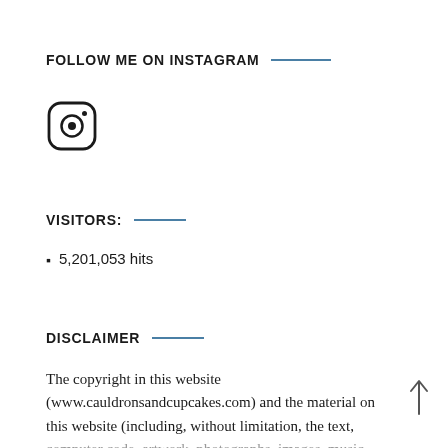FOLLOW ME ON INSTAGRAM
[Figure (logo): Instagram icon (rounded square with camera outline and dot)]
VISITORS:
5,201,053 hits
DISCLAIMER
The copyright in this website (www.cauldronsandcupcakes.com) and the material on this website (including, without limitation, the text, computer code, artwork, photographs, images, music,